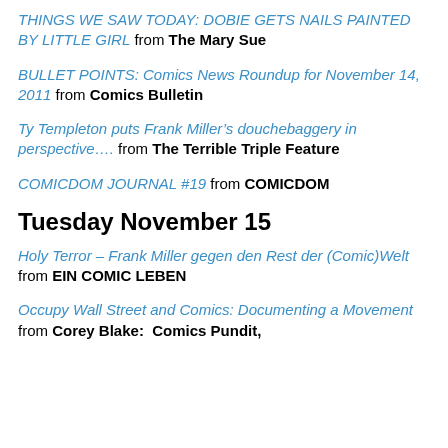THINGS WE SAW TODAY: DOBIE GETS NAILS PAINTED BY LITTLE GIRL from The Mary Sue
BULLET POINTS: Comics News Roundup for November 14, 2011 from Comics Bulletin
Ty Templeton puts Frank Miller’s douchebaggery in perspective…. from The Terrible Triple Feature
COMICDOM JOURNAL #19 from COMICDOM
Tuesday November 15
Holy Terror – Frank Miller gegen den Rest der (Comic)Welt from EIN COMIC LEBEN
Occupy Wall Street and Comics: Documenting a Movement from Corey Blake:  Comics Pundit,